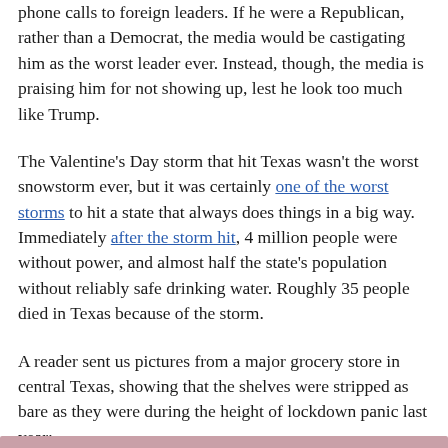phone calls to foreign leaders. If he were a Republican, rather than a Democrat, the media would be castigating him as the worst leader ever. Instead, though, the media is praising him for not showing up, lest he look too much like Trump.
The Valentine's Day storm that hit Texas wasn't the worst snowstorm ever, but it was certainly one of the worst storms to hit a state that always does things in a big way. Immediately after the storm hit, 4 million people were without power, and almost half the state's population without reliably safe drinking water. Roughly 35 people died in Texas because of the storm.
A reader sent us pictures from a major grocery store in central Texas, showing that the shelves were stripped as bare as they were during the height of lockdown panic last year: